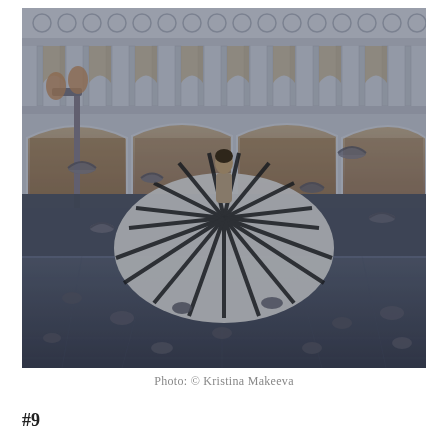[Figure (photo): A woman in a large black-and-white striped flowing dress spinning in Piazza San Marco, Venice, surrounded by flying pigeons. The Gothic facade of the Doge's Palace is in the background. Photo by Kristina Makeeva.]
Photo: © Kristina Makeeva
#9